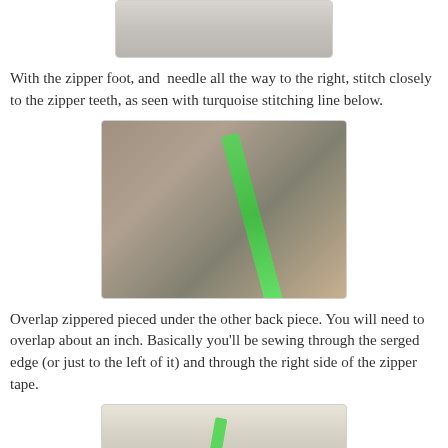[Figure (photo): Cropped top portion of a fabric/textile photo showing gray woven material]
With the zipper foot, and needle all the way to the right, stitch closely to the zipper teeth, as seen with turquoise stitching line below.
[Figure (photo): Close-up photo of a hand holding gray fabric with a green zipper attached along the edge]
Overlap zippered pieced under the other back piece. You will need to overlap about an inch. Basically you'll be sewing through the serged edge (or just to the left of it) and through the right side of the zipper tape.
[Figure (photo): Partial bottom photo showing fabric on a tiled surface with a green zipper visible]